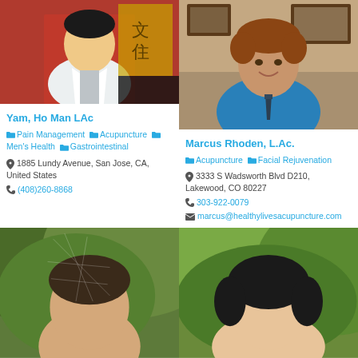[Figure (photo): Headshot of Yam, Ho Man LAc in white coat against red background with Chinese characters]
[Figure (photo): Headshot of Marcus Rhoden, L.Ac. smiling in blue shirt in office setting]
Yam, Ho Man LAc
Marcus Rhoden, L.Ac.
Pain Management  Acupuncture  Men's Health  Gastrointestinal
Acupuncture  Facial Rejuvenation
1885 Lundy Avenue, San Jose, CA, United States
3333 S Wadsworth Blvd D210, Lakewood, CO 80227
(408)260-8868
303-922-0079
marcus@healthylivesacupuncture.com
[Figure (photo): Partial headshot of a person, bottom left]
[Figure (photo): Partial headshot of a person, bottom right]